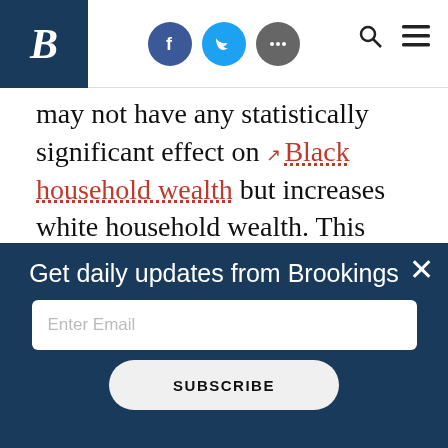Brookings Institution website header with logo, social icons (Facebook, Twitter, More), search and menu icons
may not have any statistically significant effect on Black household wealth but increases white household wealth. This suggests that the EITC, under current law, may not narrow the racial wealth gap and may even widen it.
RELATED CONTENT
[Figure (screenshot): Brookings email signup popup overlay with title 'Get daily updates from Brookings', an email input field with placeholder 'Enter Email', and a SUBSCRIBE button]